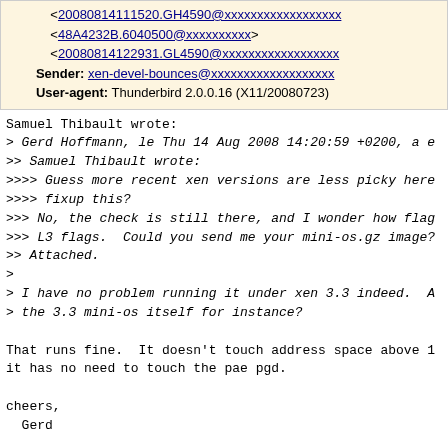<20080814111520.GH4590@xxxxxxxxxxxxxxxxxx>
<48A4232B.6040500@xxxxxxxxxx>
<20080814122931.GL4590@xxxxxxxxxxxxxxxxxx>
Sender: xen-devel-bounces@xxxxxxxxxxxxxxxxxxx
User-agent: Thunderbird 2.0.0.16 (X11/20080723)
Samuel Thibault wrote:
> Gerd Hoffmann, le Thu 14 Aug 2008 14:20:59 +0200, a e
>> Samuel Thibault wrote:
>>>> Guess more recent xen versions are less picky here
>>>> fixup this?
>>> No, the check is still there, and I wonder how flag
>>> L3 flags.  Could you send me your mini-os.gz image?
>> Attached.
>
> I have no problem running it under xen 3.3 indeed.  A
> the 3.3 mini-os itself for instance?

That runs fine.  It doesn't touch address space above 1
it has no need to touch the pae pgd.

cheers,
  Gerd

--
http://kraxel.fedorapeople.org/xenner/
Xen-devel mailing list